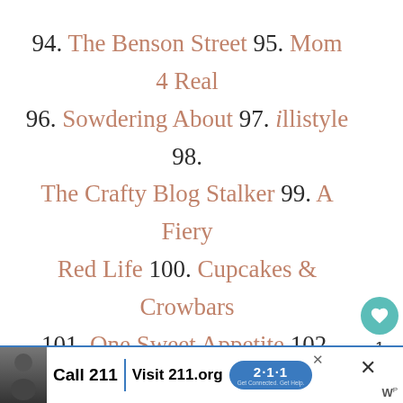94. The Benson Street 95. Mom 4 Real 96. Sowdering About 97. illistyle 98. The Crafty Blog Stalker 99. A Fiery Red Life 100. Cupcakes & Crowbars 101. One Sweet Appetite 102. My DayLights 103. Restless Risa
[Figure (other): Small broken image icon placeholder]
beauty and bravery - women wearing no makeup - Bravvanle.com
[Figure (infographic): What's Next widget with Roomba Vacuum advertisement and globe icon]
[Figure (screenshot): Advertisement banner: Call 211 | Visit 211.org with 2-1-1 badge logo and person photo]